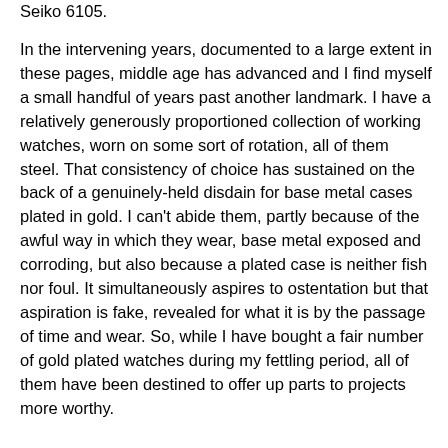Seiko 6105.

In the intervening years, documented to a large extent in these pages, middle age has advanced and I find myself a small handful of years past another landmark. I have a relatively generously proportioned collection of working watches, worn on some sort of rotation, all of them steel. That consistency of choice has sustained on the back of a genuinely-held disdain for base metal cases plated in gold. I can't abide them, partly because of the awful way in which they wear, base metal exposed and corroding, but also because a plated case is neither fish nor foul. It simultaneously aspires to ostentation but that aspiration is fake, revealed for what it is by the passage of time and wear. So, while I have bought a fair number of gold plated watches during my fettling period, all of them have been destined to offer up parts to projects more worthy.